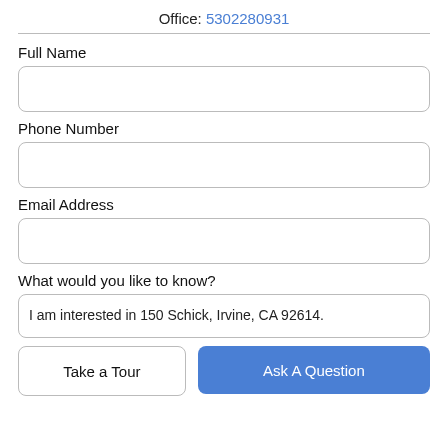Office: 5302280931
Full Name
Phone Number
Email Address
What would you like to know?
I am interested in 150 Schick, Irvine, CA 92614.
Take a Tour
Ask A Question